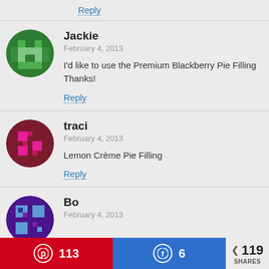Reply
Jackie
February 4, 2013
I'd like to use the Premium Blackberry Pie Filling Thanks!
Reply
traci
February 4, 2013
Lemon Crème Pie Filling
Reply
Bo
February 4, 2013
113  6  119 SHARES